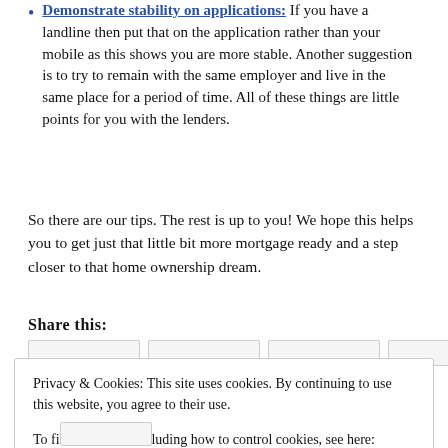Demonstrate stability on applications: If you have a landline then put that on the application rather than your mobile as this shows you are more stable. Another suggestion is to try to remain with the same employer and live in the same place for a period of time. All of these things are little points for you with the lenders.
So there are our tips. The rest is up to you! We hope this helps you to get just that little bit more mortgage ready and a step closer to that home ownership dream.
Share this:
Privacy & Cookies: This site uses cookies. By continuing to use this website, you agree to their use. To find out more, including how to control cookies, see here: Cookie Policy